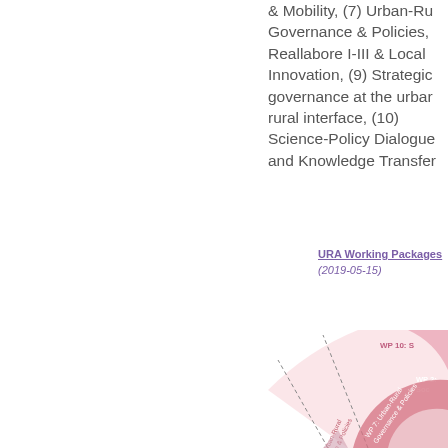& Mobility, (7) Urban-Rural Governance & Policies, Reallabore I-III & Local Innovation, (9) Strategic governance at the urban-rural interface, (10) Science-Policy Dialogue and Knowledge Transfer
URA Working Packages
(2019-05-15)
[Figure (other): Partial circular/radial diagram showing URA Working Packages with labeled segments including WP 10: S..., WP 2: Soc..., WP 7: Urban-Rural Governance & Policies, and other partially visible segments in pink/rose color tones.]